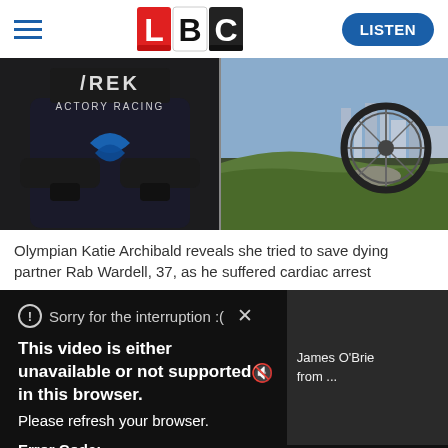LBC — hamburger menu, LBC logo, LISTEN button
[Figure (photo): Left half: person wearing Trek Factory Racing jersey with arms crossed. Right half: mountain bike airborne over a grassy hill with city skyline in background.]
Olympian Katie Archibald reveals she tried to save dying partner Rab Wardell, 37, as he suffered cardiac arrest
[Figure (screenshot): Video player error overlay on dark background. Shows warning icon and text: 'Sorry for the interruption :(' with X close button. Bold text: 'This video is either unavailable or not supported in this browser.' Then: 'Please refresh your browser.' Then 'Error Code:' label and 'MEDIA ERR SRC NOT SUPPORTED'. Volume mute icon visible. Side panel shows 'James O'Brie from ...' text. Progress bar at bottom.]